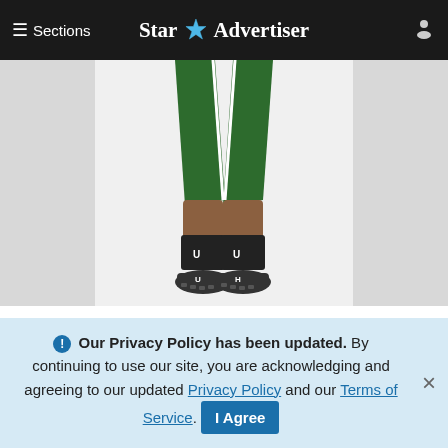≡ Sections  Star ✦ Advertiser
[Figure (photo): UH quarterback David Graves shown from waist down in green football uniform with Under Armour gear and cleats, in a wide stance pose against a light background with grey side panels.]
UH quarterback, David Graves, who is challenging Bryant Moniz for the starting spot.
Fifteen minutes after the morning 7-on-7 passing
ℹ Our Privacy Policy has been updated. By continuing to use our site, you are acknowledging and agreeing to our updated Privacy Policy and our Terms of Service. I Agree